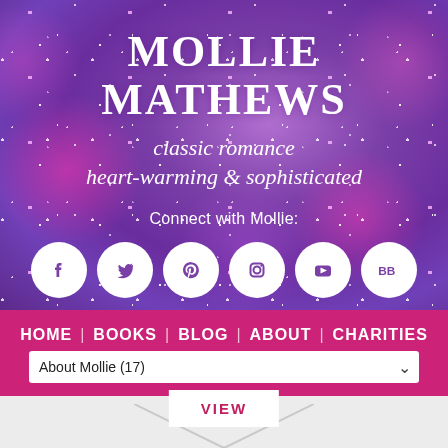MOLLIE MATHEWS
classic romance
heart-warming & sophisticated
Connect with Mollie:
[Figure (infographic): Six white social media icons on circular white backgrounds: Facebook, Twitter, Pinterest, Instagram, YouTube, BookBub (BB)]
HOME | BOOKS | BLOG | ABOUT | CHARITIES
About Mollie (17)
VIEW